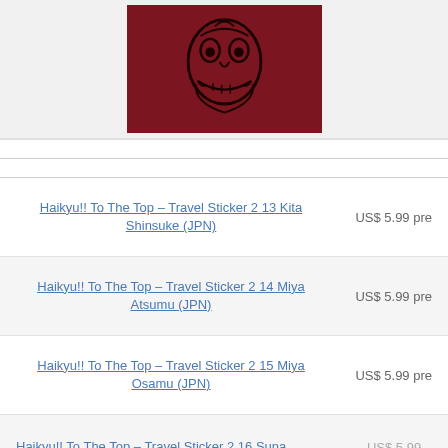[Figure (photo): Product image showing a dark red/maroon item with a face illustration printed on it, displayed against a light gray background]
Haikyu!! To The Top – Travel Sticker 2 13 Kita Shinsuke (JPN) — US$ 5.99 pre
Haikyu!! To The Top – Travel Sticker 2 14 Miya Atsumu (JPN) — US$ 5.99 pre
Haikyu!! To The Top – Travel Sticker 2 15 Miya Osamu (JPN) — US$ 5.99 pre
Haikyu!! To The Top – Travel Sticker 2 16 Suna ...